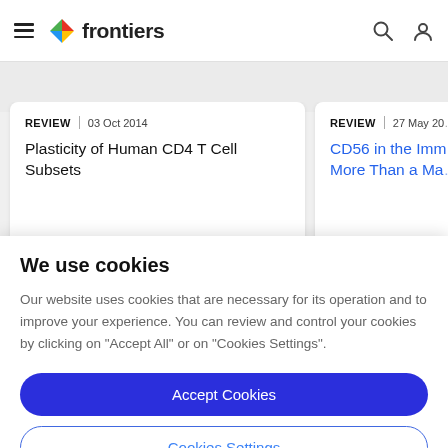frontiers
REVIEW | 03 Oct 2014
Plasticity of Human CD4 T Cell Subsets
REVIEW | 27 May 20...
CD56 in the Imm... More Than a Ma...
We use cookies
Our website uses cookies that are necessary for its operation and to improve your experience. You can review and control your cookies by clicking on "Accept All" or on "Cookies Settings".
Accept Cookies
Cookies Settings